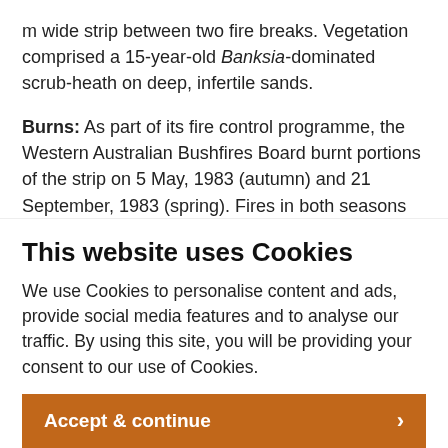m wide strip between two fire breaks. Vegetation comprised a 15-year-old Banksia-dominated scrub-heath on deep, infertile sands.
Burns: As part of its fire control programme, the Western Australian Bushfires Board burnt portions of the strip on 5 May, 1983 (autumn) and 21 September, 1983 (spring). Fires in both seasons were intense, achieving 100% Banksia leaf scorch
This website uses Cookies
We use Cookies to personalise content and ads, provide social media features and to analyse our traffic. By using this site, you will be providing your consent to our use of Cookies.
Accept & continue